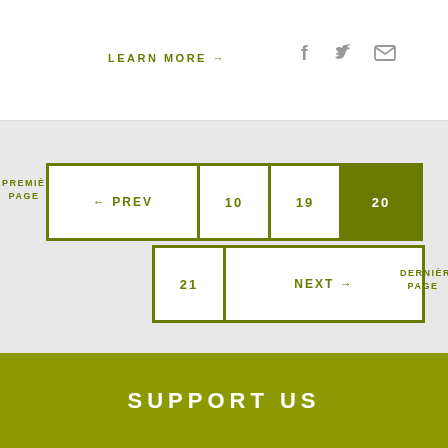LEARN MORE →
[Figure (other): Social media icons: Facebook (f), Twitter (bird), Email (envelope)]
[Figure (infographic): Pagination navigation showing: PREMIÈRE PAGE label on left, PREV button, page numbers 10, 19, 20 (active/highlighted), 21, NEXT button, DERNIÈRE PAGE label on right]
SUPPORT US